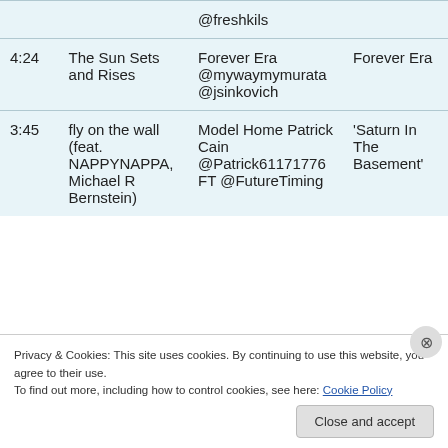| Time | Track | Artist | Album |
| --- | --- | --- | --- |
|  | @freshkils |  |  |
| 4:24 | The Sun Sets and Rises | Forever Era @mywaymymurata @jsinkovich | Forever Era |
| 3:45 | fly on the wall (feat. NAPPYNAPPA, Michael R Bernstein) | Model Home Patrick Cain @Patrick61171776 FT @FutureTiming | 'Saturn In The Basement' |
Privacy & Cookies: This site uses cookies. By continuing to use this website, you agree to their use.
To find out more, including how to control cookies, see here: Cookie Policy